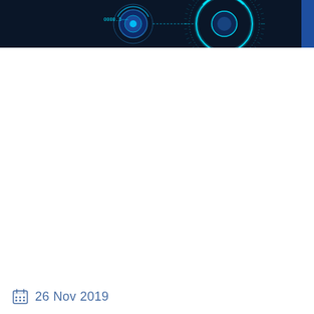[Figure (illustration): Partial view of a dark navy technology/HUD graphic with glowing cyan circular interface elements, tick marks, a blue circle, and small text reading '0000.3'. A small blue rectangle appears at the far right edge.]
26 Nov 2019